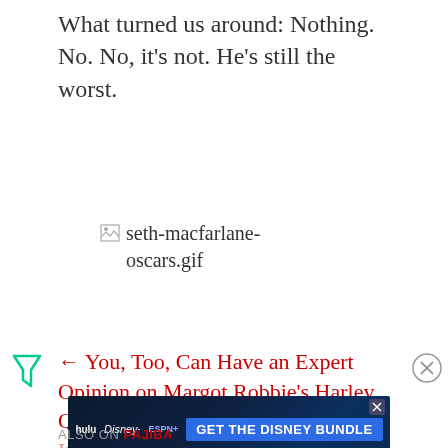What turned us around: Nothing. No. No, it's not. He's still the worst.
[Figure (illustration): Broken image placeholder icon followed by filename text: seth-macfarlane-oscars.gif]
← You, Too, Can Have an Expert Opinion on Margot Robbie's Harley Quinn Without Any Firsthand Knowledge | On 'Mad Men,'
[Figure (other): Advertisement banner: Hulu, Disney+, ESPN+ - GET THE DISNEY BUNDLE. Incl. Hulu (ad-supported) or Hulu (No Ads). Access content from each service separately. ©2021 Disney and its related entities.]
ALSO ON PAJIBA